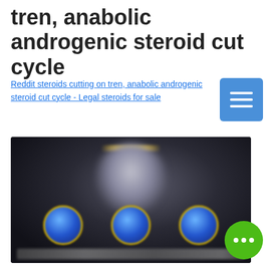tren, anabolic androgenic steroid cut cycle
Reddit steroids cutting on tren, anabolic androgenic steroid cut cycle - Legal steroids for sale
[Figure (photo): Blurred dark image showing a muscular figure silhouette and three product containers with blue circular labels at the bottom, on a dark background.]